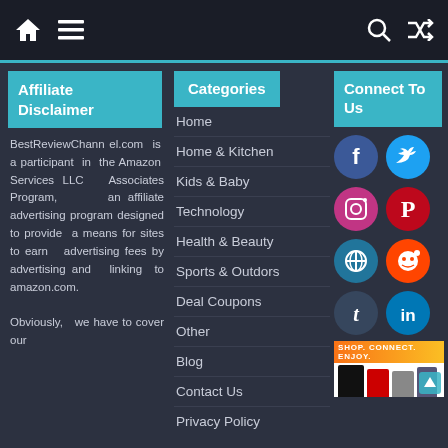Navigation bar with home, menu, search, and shuffle icons
Affiliate Disclaimer
BestReviewChannel.com is a participant in the Amazon Services LLC Associates Program, an affiliate advertising program designed to provide a means for sites to earn advertising fees by advertising and linking to amazon.com.

Obviously, we have to cover our
Categories
Home
Home & Kitchen
Kids & Baby
Technology
Health & Beauty
Sports & Outdors
Deal Coupons
Other
Blog
Contact Us
Privacy Policy
Connect To Us
[Figure (infographic): Social media icons: Facebook, Twitter, Instagram, Pinterest, WordPress, Reddit, Tumblr, LinkedIn]
[Figure (infographic): Advertisement banner: SHOP. CONNECT. ENJOY. with product images and up arrow]